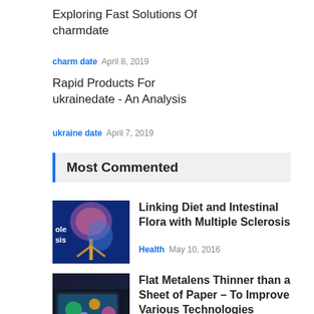Exploring Fast Solutions Of charmdate
charm date   April 8, 2019
Rapid Products For ukrainedate - An Analysis
ukraine date   April 7, 2019
Most Commented
[Figure (photo): Illustration of human nervous system with brain highlighted, blue background, with partial text 'ble sis' visible]
Linking Diet and Intestinal Flora with Multiple Sclerosis
Health   May 10, 2016
[Figure (photo): Tablet device with colorful video game or app content on screen, dark background]
Flat Metalens Thinner than a Sheet of Paper – To Improve Various Technologies